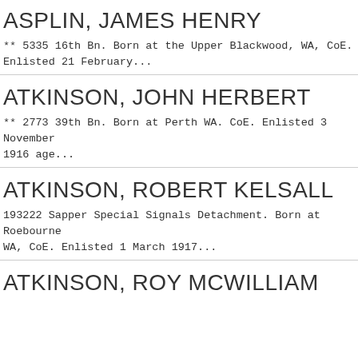ASPLIN, JAMES HENRY
** 5335 16th Bn. Born at the Upper Blackwood, WA, CoE. Enlisted 21 February...
ATKINSON, JOHN HERBERT
** 2773 39th Bn. Born at Perth WA. CoE. Enlisted 3 November 1916 age...
ATKINSON, ROBERT KELSALL
193222 Sapper Special Signals Detachment. Born at Roebourne WA, CoE. Enlisted 1 March 1917...
ATKINSON, ROY MCWILLIAM